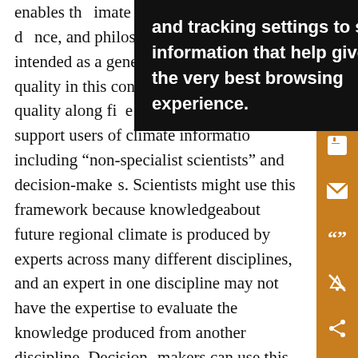enables th...imate information... h physical d... nce, and philo... ty dimensions and is intended as a general guide to assess quality in this context. We characterize quality along five dimensions that can support users of climate information including “non-specialist scientists” and decision-makers. Scientists might use this framework because knowledge about future regional climate is produced by experts across many different disciplines, and an expert in one discipline may not have the expertise to evaluate the knowledge produced from another discipline. Decision-makers can use this framework because they may not be trained in the science that is used to generate regional climate information. The framework raises the questions
and tracking settings to store information that help give you the very best browsing experience.